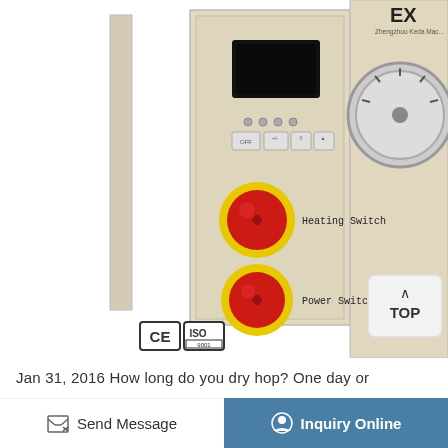[Figure (photo): Industrial heating equipment control panel with two large red emergency stop-style buttons labeled 'Heating Switch' and 'Power Switch', a black display screen, indicator LEDs, small control buttons, CE and ISO certification logos, and a gauge visible on the right side panel. Top right shows partial 'EX' branding text.]
Jan 31, 2016 How long do you dry hop? One day or
Send Message | Inquiry Online